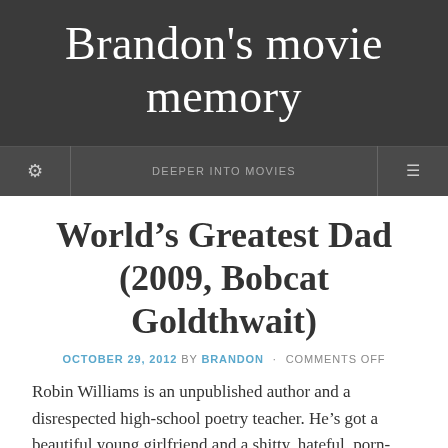Brandon's movie memory
DEEPER INTO MOVIES
World's Greatest Dad (2009, Bobcat Goldthwait)
OCTOBER 29, 2012 BY BRANDON · COMMENTS OFF
Robin Williams is an unpublished author and a disrespected high-school poetry teacher. He's got a beautiful young girlfriend and a shitty, hateful, porn-